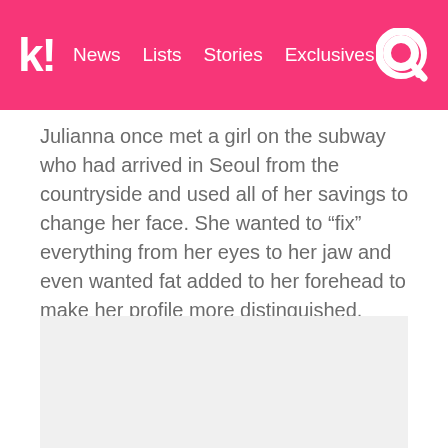k! News Lists Stories Exclusives
Julianna once met a girl on the subway who had arrived in Seoul from the countryside and used all of her savings to change her face. She wanted to “fix” everything from her eyes to her jaw and even wanted fat added to her forehead to make her profile more distinguished.
[Figure (photo): Light gray rectangular image placeholder at bottom of page]